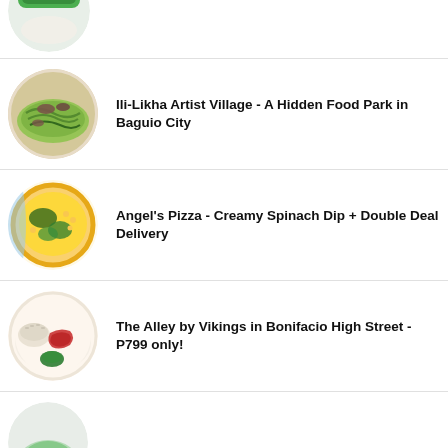[Figure (photo): Partial circular food photo at top - green logo/label visible, cropped]
Ili-Likha Artist Village - A Hidden Food Park in Baguio City
Angel's Pizza - Creamy Spinach Dip + Double Deal Delivery
The Alley by Vikings in Bonifacio High Street - P799 only!
[Figure (photo): Partial circular food photo at bottom - cropped, partially visible]